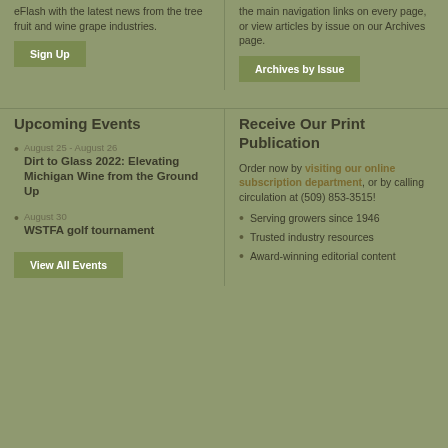eFlash with the latest news from the tree fruit and wine grape industries.
the main navigation links on every page, or view articles by issue on our Archives page.
Sign Up
Archives by Issue
Upcoming Events
Receive Our Print Publication
August 25 - August 26
Dirt to Glass 2022: Elevating Michigan Wine from the Ground Up
August 30
WSTFA golf tournament
View All Events
Order now by visiting our online subscription department, or by calling circulation at (509) 853-3515!
Serving growers since 1946
Trusted industry resources
Award-winning editorial content